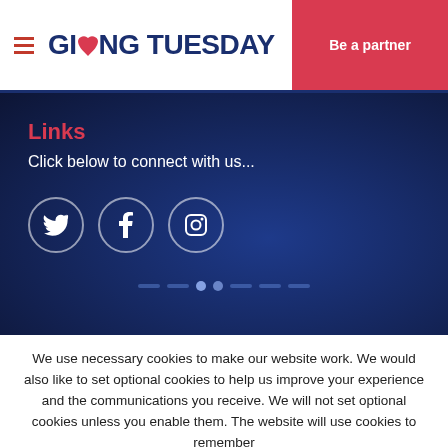GIVING TUESDAY — Be a partner
Links
Click below to connect with us...
[Figure (illustration): Three social media icons in circles: Twitter (bird), Facebook (f), Instagram (camera). Below them are carousel navigation dots.]
We use necessary cookies to make our website work. We would also like to set optional cookies to help us improve your experience and the communications you receive. We will not set optional cookies unless you enable them. The website will use cookies to remember your cookies choices..
Cookie settings
ACCEPT